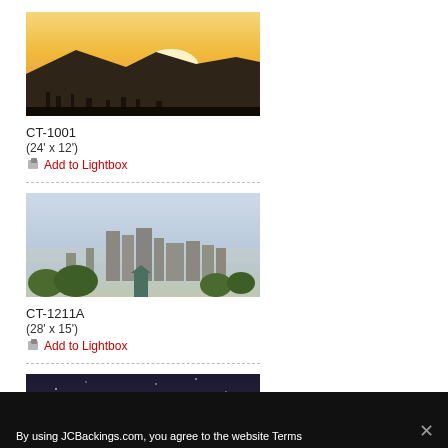[Figure (photo): Sunset over mountains with city skyline in foreground, warm golden sky]
CT-1001
(24' x 12')
Add to Lightbox
[Figure (photo): Aerial city view with buildings and hazy sky, green trees in foreground]
CT-1211A
(28' x 15')
Add to Lightbox
[Figure (photo): Dark night sky photo, partially visible]
By using JCBackings.com, you agree to the website Terms